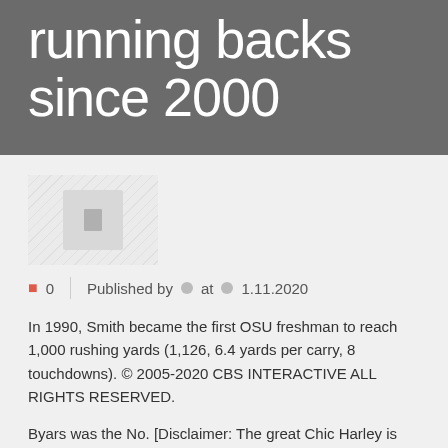running backs since 2000
[Figure (photo): Thumbnail placeholder image with diagonal stripe pattern and a gray document icon in center]
0   Published by   at   1.11.2020
In 1990, Smith became the first OSU freshman to reach 1,000 rushing yards (1,126, 6.4 yards per carry, 8 touchdowns). © 2005-2020 CBS INTERACTIVE ALL RIGHTS RESERVED.
Byars was the No. [Disclaimer: The great Chic Harley is not on this list because he wasn't just a running back. He then